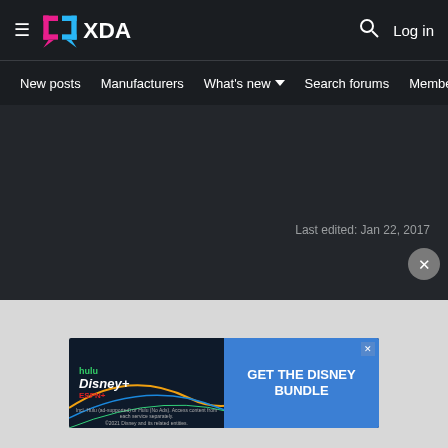XDA Developers - Log in
New posts  Manufacturers  What's new  Search forums  Membe  >
Last edited: Jan 22, 2017
[Figure (screenshot): XDA Developers forum website screenshot showing navigation bar with hamburger menu, XDA logo, search icon, log in button, secondary navigation with New posts, Manufacturers, What's new, Search forums, Members links, a dark content area with 'Last edited: Jan 22, 2017' text, a close button, and a Disney Bundle advertisement banner at the bottom]
GET THE DISNEY BUNDLE - Incl. Hulu (ad-supported) or Hulu (No Ads). Access content from each service separately. ©2021 Disney and its related entities.